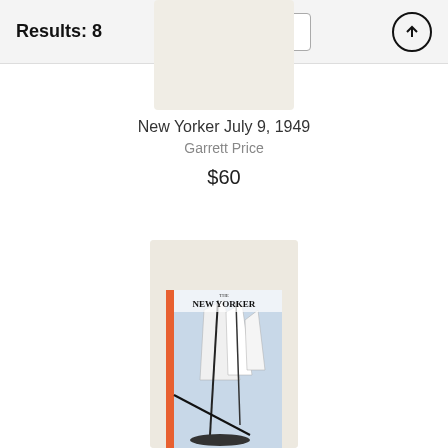Results: 8
Filters
New Yorker July 9, 1949
Garrett Price
$60
[Figure (photo): Magazine cover image of New Yorker July 9, 1949 showing sailboats with diagonal masts and 'THE NEW YORKER' text, partially wrapped in tissue paper]